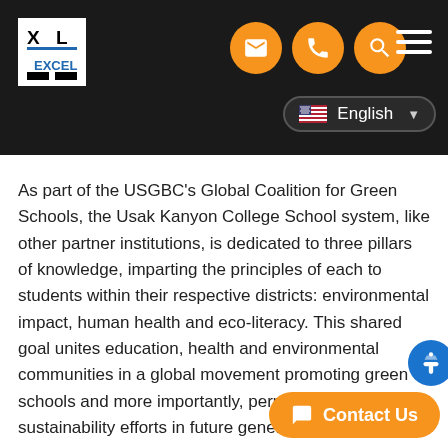Excel Dryer website header with logo, navigation icons, and language selector
As part of the USGBC's Global Coalition for Green Schools, the Usak Kanyon College School system, like other partner institutions, is dedicated to three pillars of knowledge, imparting the principles of each to students within their respective districts: environmental impact, human health and eco-literacy. This shared goal unites education, health and environmental communities in a global movement promoting green schools and more importantly, perpetuates sustainability efforts in future generations.
"Excel Dryer is pleased to join forces with the Usak Kanyon College school system. Together, w... energy consumption and educate students o... importance of sustainability," said Excel Dryer Vice...